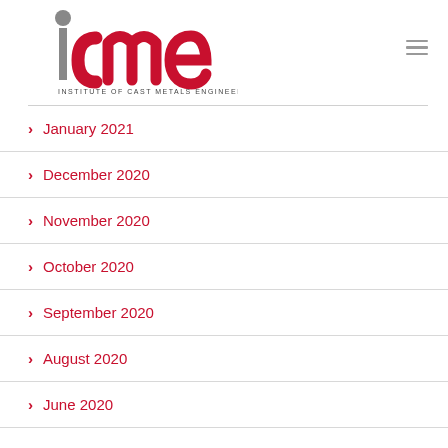[Figure (logo): ICME – Institute of Cast Metals Engineers logo: stylized red and grey 'icme' lettering with grey sphere above the 'i', and 'INSTITUTE OF CAST METALS ENGINEERS' text below]
January 2021
December 2020
November 2020
October 2020
September 2020
August 2020
June 2020